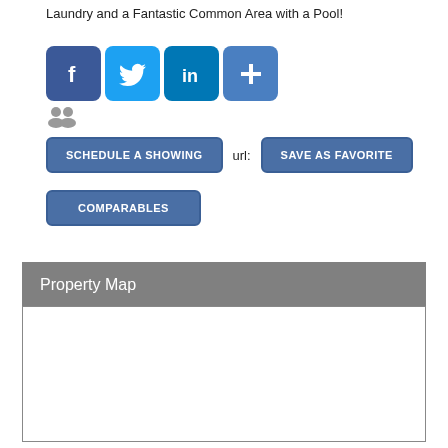Laundry and a Fantastic Common Area with a Pool!
[Figure (infographic): Social sharing icons: Facebook (blue), Twitter (light blue), LinkedIn (blue), and a plus/share button (blue)]
[Figure (infographic): People/group icon in gray]
SCHEDULE A SHOWING   url:   SAVE AS FAVORITE
COMPARABLES
Property Map
[Figure (map): Empty property map area with white background and gray border]